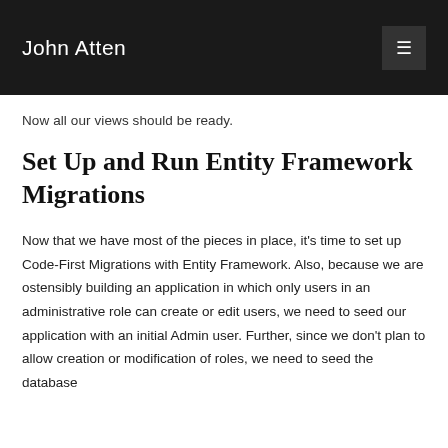John Atten
Now all our views should be ready.
Set Up and Run Entity Framework Migrations
Now that we have most of the pieces in place, it's time to set up Code-First Migrations with Entity Framework. Also, because we are ostensibly building an application in which only users in an administrative role can create or edit users, we need to seed our application with an initial Admin user. Further, since we don't plan to allow creation or modification of roles, we need to seed the database